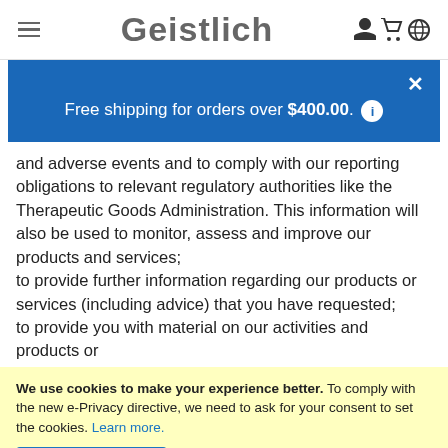≡  Geistlich  👤 🛒 🌐
Free shipping for orders over $400.00.  ×
and adverse events and to comply with our reporting obligations to relevant regulatory authorities like the Therapeutic Goods Administration. This information will also be used to monitor, assess and improve our products and services;
to provide further information regarding our products or services (including advice) that you have requested;
to provide you with material on our activities and products or
We use cookies to make your experience better. To comply with the new e-Privacy directive, we need to ask for your consent to set the cookies. Learn more.
Allow Cookies